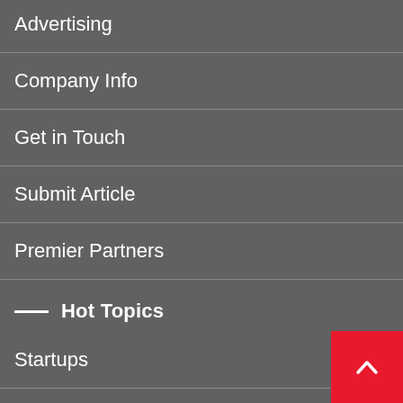Advertising
Company Info
Get in Touch
Submit Article
Premier Partners
Hot Topics
Startups
Business